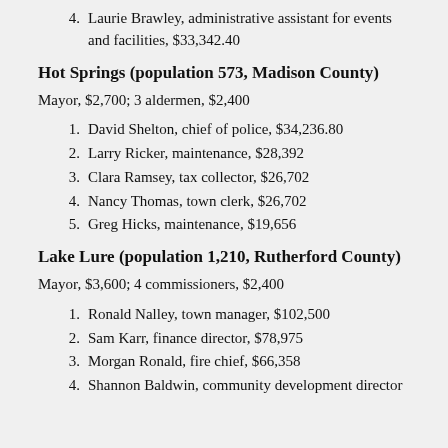4. Laurie Brawley, administrative assistant for events and facilities, $33,342.40
Hot Springs (population 573, Madison County)
Mayor, $2,700; 3 aldermen, $2,400
1. David Shelton, chief of police, $34,236.80
2. Larry Ricker, maintenance, $28,392
3. Clara Ramsey, tax collector, $26,702
4. Nancy Thomas, town clerk, $26,702
5. Greg Hicks, maintenance, $19,656
Lake Lure (population 1,210, Rutherford County)
Mayor, $3,600; 4 commissioners, $2,400
1. Ronald Nalley, town manager, $102,500
2. Sam Karr, finance director, $78,975
3. Morgan Ronald, fire chief, $66,358
4. Shannon Baldwin, community development director